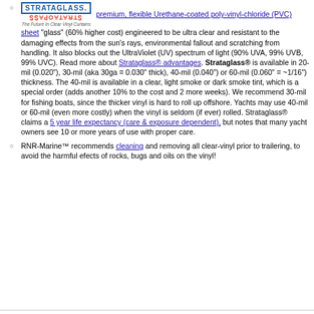Strataglass — premium, flexible Urethane-coated poly-vinyl-chloride (PVC) sheet "glass" (60% higher cost) engineered to be ultra clear and resistant to the damaging effects from the sun's rays, environmental fallout and scratching from handling. It also blocks out the UltraViolet (UV) spectrum of light (90% UVA, 99% UVB, 99% UVC). Read more about Strataglass® advantages. Strataglass® is available in 20-mil (0.020"), 30-mil (aka 30ga = 0.030" thick), 40-mil (0.040") or 60-mil (0.060" = ~1/16") thickness. The 40-mil is available in a clear, light smoke or dark smoke tint, which is a special order (adds another 10% to the cost and 2 more weeks). We recommend 30-mil for fishing boats, since the thicker vinyl is hard to roll up offshore. Yachts may use 40-mil or 60-mil (even more costly) when the vinyl is seldom (if ever) rolled. Strataglass® claims a 5 year life expectancy (care & exposure dependent), but notes that many yacht owners see 10 or more years of use with proper care.
RNR-Marine™ recommends cleaning and removing all clear-vinyl prior to trailering, to avoid the harmful efects of rocks, bugs and oils on the vinyl!